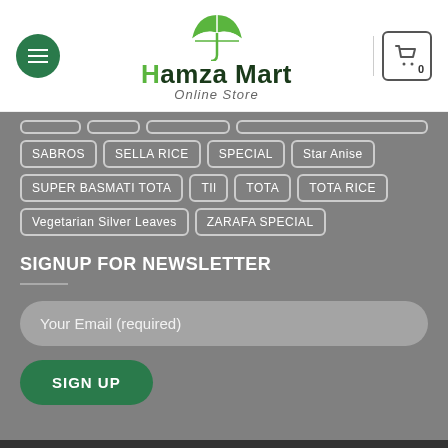[Figure (logo): Hamza Mart Online Store logo with green umbrella icon, hamburger menu button on left, and shopping cart with 0 badge on right]
SABROS
SELLA RICE
SPECIAL
Star Anise
SUPER BASMATI TOTA
TIl
TOTA
TOTA RICE
Vegetarian Silver Leaves
ZARAFA SPECIAL
SIGNUP FOR NEWSLETTER
Your Email (required)
SIGN UP